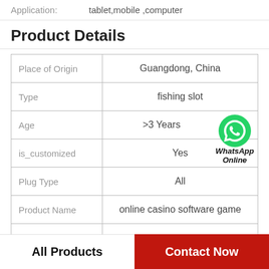Application: tablet,mobile ,computer
Product Details
|  |  |
| --- | --- |
| Place of Origin | Guangdong, China |
| Type | fishing slot |
| Age | >3 Years |
| is_customized | Yes |
| Plug Type | All |
| Product Name | online casino software game |
| MOQ | 1 Set |
All Products
Contact Now